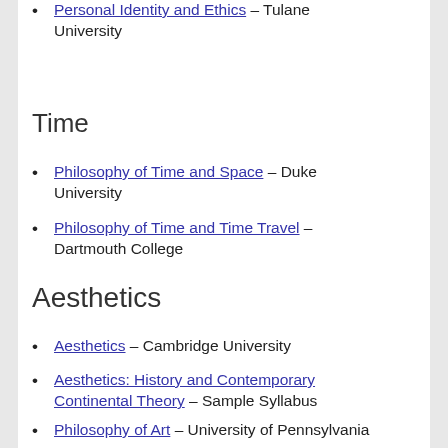Personal Identity and Ethics – Tulane University
Time
Philosophy of Time and Space – Duke University
Philosophy of Time and Time Travel – Dartmouth College
Aesthetics
Aesthetics – Cambridge University
Aesthetics: History and Contemporary Continental Theory – Sample Syllabus
Philosophy of Art – University of Pennsylvania
Aesthetics – Rice University